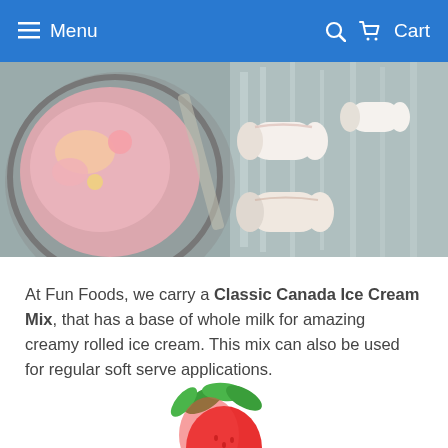Menu  Cart
[Figure (photo): Close-up photo of rolled ice cream being made on a cold metal surface, with pink and white ice cream rolls visible]
At Fun Foods, we carry a Classic Canada Ice Cream Mix, that has a base of whole milk for amazing creamy rolled ice cream. This mix can also be used for regular soft serve applications.
[Figure (illustration): Partial illustration of strawberries with green leaves, partially cropped at bottom of page]